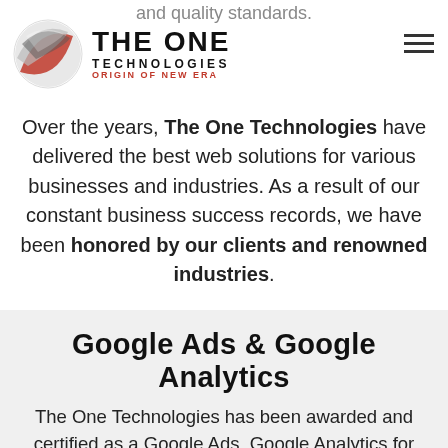and quality standards.
[Figure (logo): The One Technologies logo with a stylized globe/sphere in red and silver, company name 'THE ONE TECHNOLOGIES ORIGIN OF NEW ERA' in black and red text]
Over the years, The One Technologies have delivered the best web solutions for various businesses and industries. As a result of our constant business success records, we have been honored by our clients and renowned industries.

In addition to that, many of our clients have also received special credit in their own industry for the very interactive and intuitive web applications that were developed by The One Technologies.
Google Ads & Google Analytics
The One Technologies has been awarded and certified as a Google Ads, Google Analytics for beginners, and advanced Google Analytics Agency